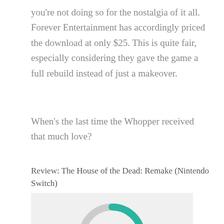you're not doing so for the nostalgia of it all. Forever Entertainment has accordingly priced the download at only $25. This is quite fair, especially considering they gave the game a full rebuild instead of just a makeover.
When's the last time the Whopper received that much love?
Review: The House of the Dead: Remake (Nintendo Switch)
[Figure (donut-chart): Donut/ring chart showing a score of 6 out of 10, with teal arc filling approximately 60% of the ring and grey for the remainder, with '6' displayed in the center.]